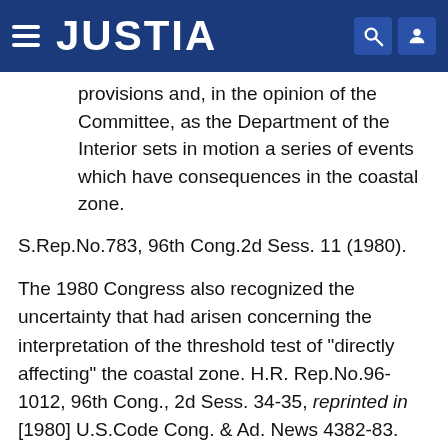JUSTIA
provisions and, in the opinion of the Committee, as the Department of the Interior sets in motion a series of events which have consequences in the coastal zone.
S.Rep.No.783, 96th Cong.2d Sess. 11 (1980).
The 1980 Congress also recognized the uncertainty that had arisen concerning the interpretation of the threshold test of "directly affecting" the coastal zone. H.R. Rep.No.96-1012, 96th Cong., 2d Sess. 34-35, reprinted in [1980] U.S.Code Cong. & Ad. News 4382-83. Referring to earlier congressional deliberations, the House Committee presented two alternative definitions of the phrase "directly affecting". The threshold test applies "whenever a Federal activity ha[s] a functional interrelationship from an economic, geographic or social standpoint with a State coastal program's land or